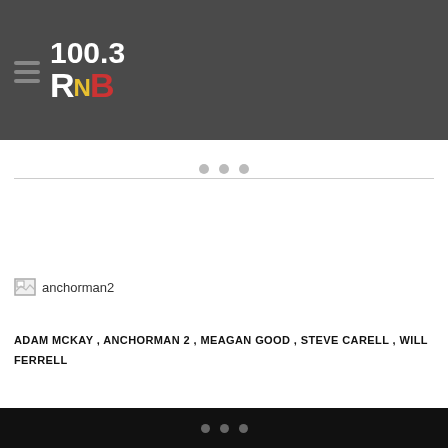100.3 RNB
[Figure (other): Broken image placeholder labeled 'anchorman2']
ADAM MCKAY , ANCHORMAN 2 , MEAGAN GOOD , STEVE CARELL , WILL FERRELL
• • •